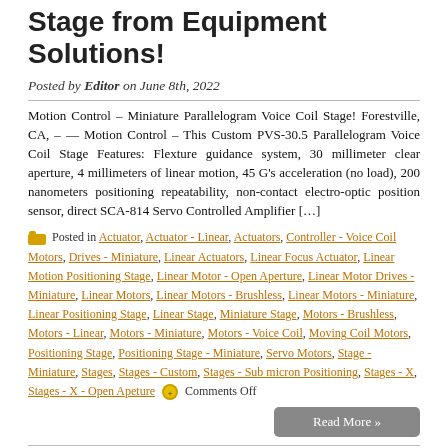Stage from Equipment Solutions!
Posted by Editor on June 8th, 2022
Motion Control – Miniature Parallelogram Voice Coil Stage! Forestville, CA, – — Motion Control – This Custom PVS-30.5 Parallelogram Voice Coil Stage Features: Flexture guidance system, 30 millimeter clear aperture, 4 millimeters of linear motion, 45 G's acceleration (no load), 200 nanometers positioning repeatability, non-contact electro-optic position sensor, direct SCA-814 Servo Controlled Amplifier […]
Posted in Actuator, Actuator - Linear, Actuators, Controller - Voice Coil Motors, Drives - Miniature, Linear Actuators, Linear Focus Actuator, Linear Motion Positioning Stage, Linear Motor - Open Aperture, Linear Motor Drives - Miniature, Linear Motors, Linear Motors - Brushless, Linear Motors - Miniature, Linear Positioning Stage, Linear Stage, Miniature Stage, Motors - Brushless, Motors - Linear, Motors - Miniature, Motors - Voice Coil, Moving Coil Motors, Positioning Stage, Positioning Stage - Miniature, Servo Motors, Stage - Miniature, Stages, Stages - Custom, Stages - Sub micron Positioning, Stages - X, Stages - X - Open Apeture   Comments Off
Motion Control Products – High Precision Linear Focus Actuator